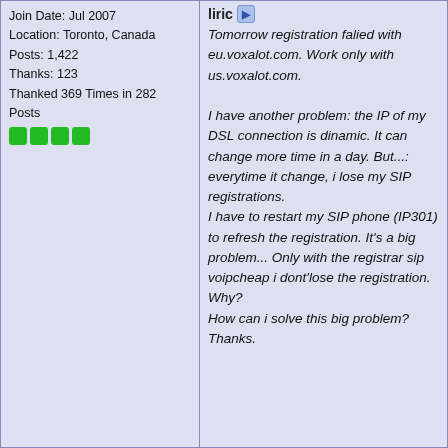Join Date: Jul 2007
Location: Toronto, Canada
Posts: 1,422
Thanks: 123
Thanked 369 Times in 282 Posts
liric
Tomorrow registration falied with eu.voxalot.com. Work only with us.voxalot.com.

I have another problem: the IP of my DSL connection is dinamic. It can change more time in a day. But...: everytime it change, i lose my SIP registrations.
I have to restart my SIP phone (IP301) to refresh the registration. It's a big problem... Only with the registrar sip voipcheap i dont'lose the registration.
Why?
How can i solve this big problem?
Thanks.